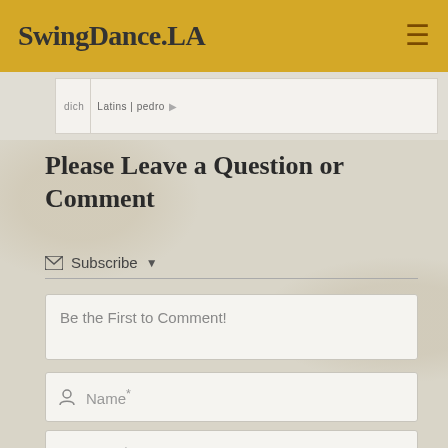SwingDance.LA
[Figure (screenshot): Partial map view showing a Google Maps-style strip with location labels]
Please Leave a Question or Comment
Subscribe ▼
Be the First to Comment!
Name*
Email*